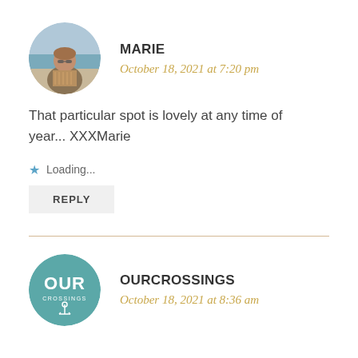[Figure (photo): Circular avatar photo of Marie, a woman with sunglasses at a beach]
MARIE
October 18, 2021 at 7:20 pm
That particular spot is lovely at any time of year... XXXMarie
★ Loading...
REPLY
[Figure (logo): OurCrossings logo — teal circular badge with OUR text and anchor icon]
OURCROSSINGS
October 18, 2021 at 8:36 am